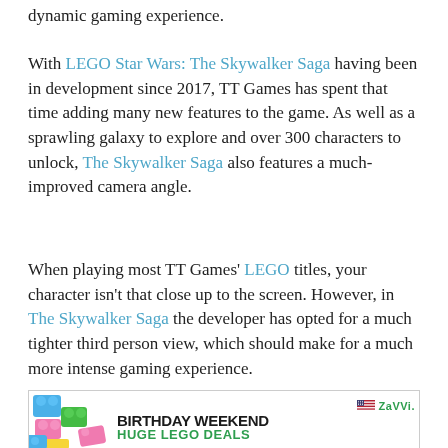dynamic gaming experience.
With LEGO Star Wars: The Skywalker Saga having been in development since 2017, TT Games has spent that time adding many new features to the game. As well as a sprawling galaxy to explore and over 300 characters to unlock, The Skywalker Saga also features a much-improved camera angle.
When playing most TT Games' LEGO titles, your character isn't that close up to the screen. However, in The Skywalker Saga the developer has opted for a much tighter third person view, which should make for a much more intense gaming experience.
[Figure (illustration): Zavvi advertisement showing colorful LEGO bricks on the left, Zavvi logo with US flag icon, and text reading 'BIRTHDAY WEEKEND HUGE LEGO DEALS']